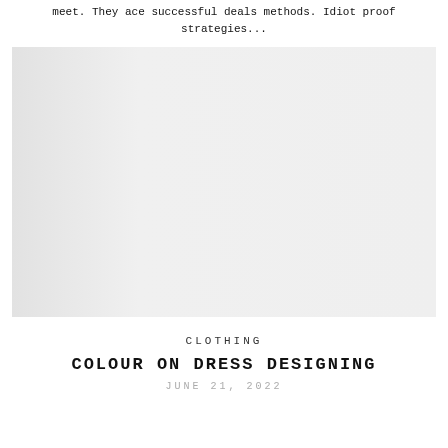meet. They ace successful deals methods. Idiot proof strategies...
[Figure (photo): A large light grey/white image placeholder, possibly a product or fashion photo, occupying most of the page width.]
CLOTHING
COLOUR ON DRESS DESIGNING
JUNE 21, 2022